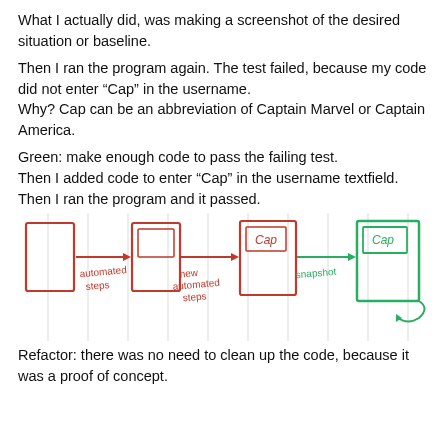What I actually did, was making a screenshot of the desired situation or baseline.
Then I ran the program again. The test failed, because my code did not enter “Cap” in the username.
Why? Cap can be an abbreviation of Captain Marvel or Captain America.
Green: make enough code to pass the failing test.
Then I added code to enter “Cap” in the username textfield.
Then I ran the program and it passed.
[Figure (illustration): Hand-drawn diagram showing a sequence of UI states. A red rectangle (initial state) with a red arrow labeled 'automated steps' pointing to a second red rectangle (intermediate state), then a red arrow labeled 'new automated steps' pointing to a third red rectangle containing 'Cap' in a box, then a green arrow labeled 'snapshot' pointing to a green rectangle containing 'Cap' in a box (final/passing state).]
Refactor: there was no need to clean up the code, because it was a proof of concept.